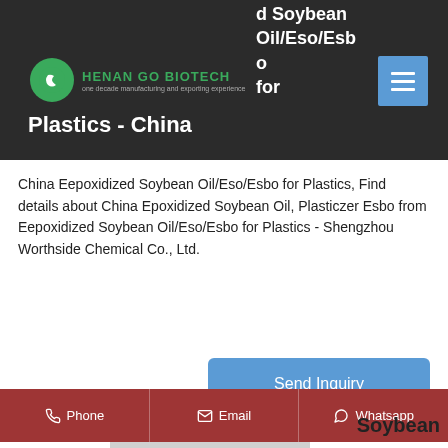HENAN GO BIOTECH one decade manufacturing and exporting experience
d Soybean Oil/Eso/Esbo for Plastics - China
China Eepoxidized Soybean Oil/Eso/Esbo for Plastics, Find details about China Epoxidized Soybean Oil, Plasticzer Esbo from Eepoxidized Soybean Oil/Eso/Esbo for Plastics - Shengzhou Worthside Chemical Co., Ltd.
Send Inquiry
Get Price
Phone   Email   Whatsapp
Soybean